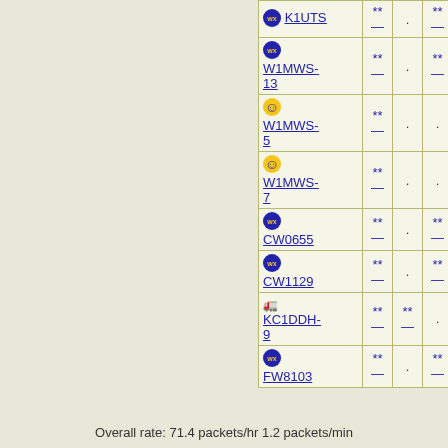| Station | Col2 | Col3 | Col4 |
| --- | --- | --- | --- |
| K1UTS | ** | . | ** |
| W1MWS-13 | ** | . | ** |
| W1MWS-5 | ** | . | . |
| W1MWS-7 | ** | . | . |
| CW0655 | ** | . | ** |
| CW1129 | ** | . | ** |
| KC1DDH-9 | ** | ** | . |
| FW8103 | ** | . | ** |
Overall rate: 71.4 packets/hr 1.2 packets/min